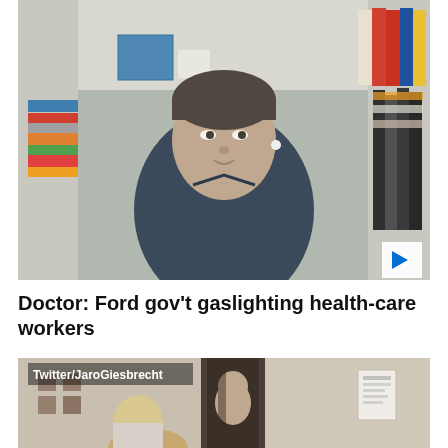[Figure (screenshot): Video thumbnail showing a man in a dark blue shirt sitting in front of bookshelves filled with travel books and other books. He has a white earbud in one ear. A white play button is visible in the bottom right corner of the thumbnail.]
Doctor: Ford gov't gaslighting health-care workers
[Figure (screenshot): Video thumbnail with a 'Twitter/JaroGiesbrecht' watermark in the top left. Shows an indoor scene with two people visible, one with blonde hair facing away and another person visible through a doorway. A paper notice is posted on a wall to the right.]